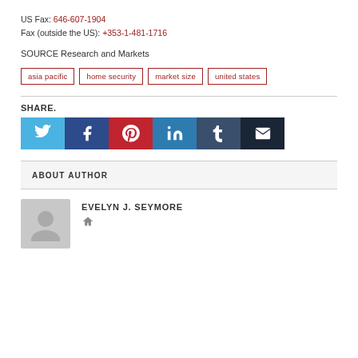US Fax: 646-607-1904
Fax (outside the US): +353-1-481-1716
SOURCE Research and Markets
asia pacific
home security
market size
united states
SHARE.
[Figure (infographic): Social share buttons: Twitter (blue), Facebook (dark blue), Pinterest (red), LinkedIn (blue), Tumblr (dark slate), Email (dark navy)]
ABOUT AUTHOR
EVELYN J. SEYMORE